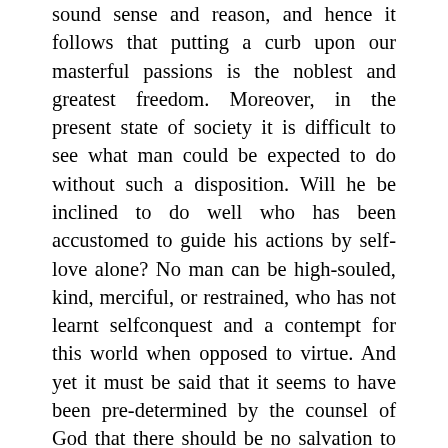sound sense and reason, and hence it follows that putting a curb upon our masterful passions is the noblest and greatest freedom. Moreover, in the present state of society it is difficult to see what man could be expected to do without such a disposition. Will he be inclined to do well who has been accustomed to guide his actions by self-love alone? No man can be high-souled, kind, merciful, or restrained, who has not learnt selfconquest and a contempt for this world when opposed to virtue. And yet it must be said that it seems to have been pre-determined by the counsel of God that there should be no salvation to men without strife and pain. Truly, though God has given to man pardon for sin, He gave it under the